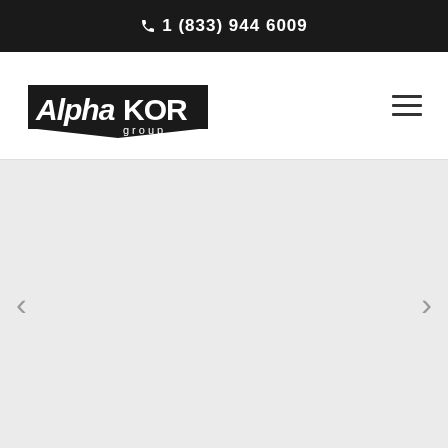1 (833) 944 6009
[Figure (logo): AlphaKOR Group logo — italic bold white text 'Alpha' followed by bold black 'KOR' with 'group' below, on a black shield-like banner shape]
[Figure (other): Hamburger menu icon — three horizontal lines stacked]
[Figure (other): Image slider / carousel area — light gray background with left and right navigation arrows on the sides, content area is empty/blank]